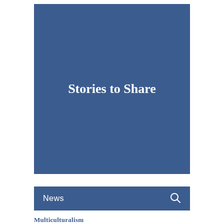[Figure (illustration): Large blue rectangular banner with the title 'Stories to Share' centered in white bold serif text]
[Figure (screenshot): Blue navigation bar with 'News' text on the left and a search icon (magnifying glass) on the right]
Multiculturalism